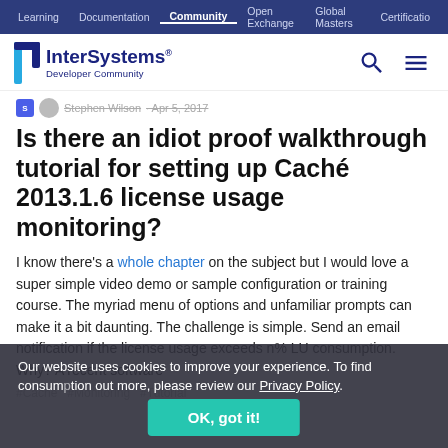Learning | Documentation | Community | Open Exchange | Global Masters | Certification
[Figure (logo): InterSystems Developer Community logo with search and menu icons]
Stephen Wilson · Apr 5, 2017
Is there an idiot proof walkthrough tutorial for setting up Caché 2013.1.6 license usage monitoring?
I know there's a whole chapter on the subject but I would love a super simple video demo or sample configuration or training course. The myriad menu of options and unfamiliar prompts can make it a bit daunting. The challenge is simple. Send an email notification if the license usage exceeds n% LU consumption.  Why? A recent software consumption...
#Caché  #Monitoring  #Tutorial
Our website uses cookies to improve your experience. To find out more, please review our Privacy Policy.